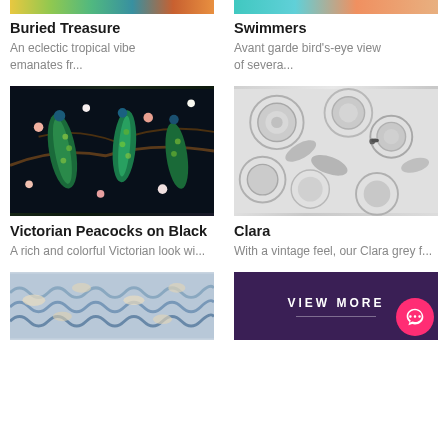[Figure (photo): Partial top image of Buried Treasure product (tropical pattern, cropped at top)]
Buried Treasure
An eclectic tropical vibe emanates fr...
[Figure (photo): Partial top image of Swimmers product (bird's-eye view pattern, cropped at top)]
Swimmers
Avant garde bird's-eye view of severa...
[Figure (photo): Victorian Peacocks on Black - colorful peacocks with floral pattern on dark background]
Victorian Peacocks on Black
A rich and colorful Victorian look wi...
[Figure (photo): Clara - vintage grey floral pattern with large roses and leaves]
Clara
With a vintage feel, our Clara grey f...
[Figure (photo): Japanese wave pattern in blue and cream tones]
[Figure (other): Dark purple VIEW MORE button panel with chat bubble icon]